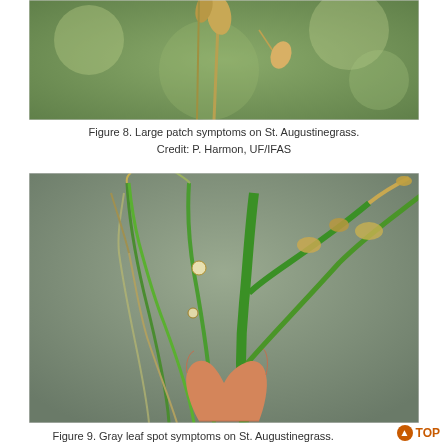[Figure (photo): Close-up photograph of large patch symptoms on St. Augustinegrass, showing diseased grass blades and plant material against a green background.]
Figure 8. Large patch symptoms on St. Augustinegrass.
Credit: P. Harmon, UF/IFAS
[Figure (photo): Photograph of gray leaf spot symptoms on St. Augustinegrass, showing a hand holding grass stems with oval gray-brown lesions and dead leaf tips against a gray background.]
Figure 9. Gray leaf spot symptoms on St. Augustinegrass.
Credit: P. Harmon, UF/IFAS